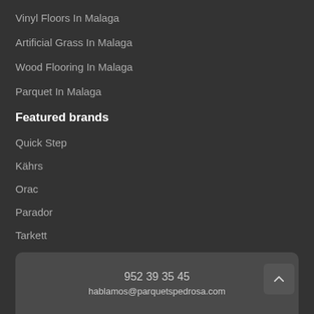Vinyl Floors In Malaga
Artificial Grass In Malaga
Wood Flooring In Malaga
Parquet In Malaga
Featured brands
Quick Step
Kährs
Orac
Parador
Tarkett
952 39 35 45
hablamos@parquetspedrosa.com